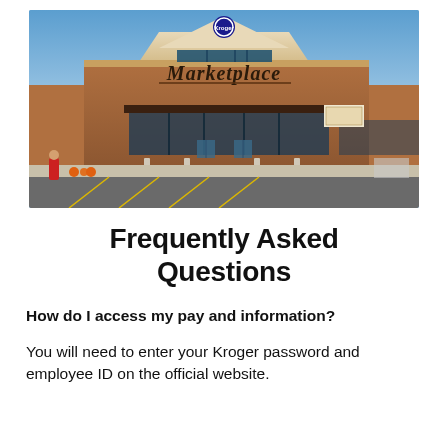[Figure (photo): Exterior photo of a Kroger Marketplace store showing the brick facade, Kroger logo, decorative script Marketplace sign, entrance with glass doors, and a sunny parking lot in the foreground.]
Frequently Asked Questions
How do I access my pay and information?
You will need to enter your Kroger password and employee ID on the official website.